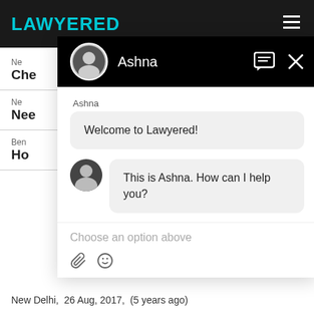[Figure (screenshot): Lawyered website chat interface showing a chat popup with avatar of Ashna, welcome message 'Welcome to Lawyered!' and 'This is Ashna. How can I help you?' with input area showing 'Choose an option above']
New Delhi, 26 Aug, 2017, (5 years ago)